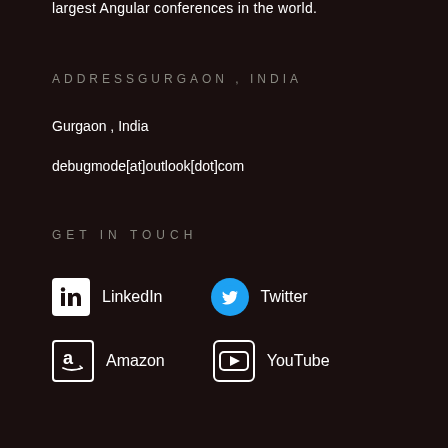largest Angular conferences in the world.
ADDRESS Gurgaon, India
Gurgaon , India
debugmode[at]outlook[dot]com
GET IN TOUCH
LinkedIn
Twitter
Amazon
YouTube